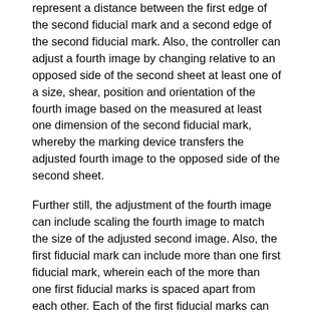represent a distance between the first edge of the second fiducial mark and a second edge of the second fiducial mark. Also, the controller can adjust a fourth image by changing relative to an opposed side of the second sheet at least one of a size, shear, position and orientation of the fourth image based on the measured at least one dimension of the second fiducial mark, whereby the marking device transfers the adjusted fourth image to the opposed side of the second sheet.
Further still, the adjustment of the fourth image can include scaling the fourth image to match the size of the adjusted second image. Also, the first fiducial mark can include more than one first fiducial mark, wherein each of the more than one first fiducial marks is spaced apart from each other. Each of the first fiducial marks can be formed closest to a different corner of the first sheet. Additionally, the first fiducial mark can include one continuous fiducial mark, wherein different portions of the one continuous fiducial mark are used to when measuring the first fiducial mark.
These and other aspects, objectives, features, and advantages of the disclosed technologies will become